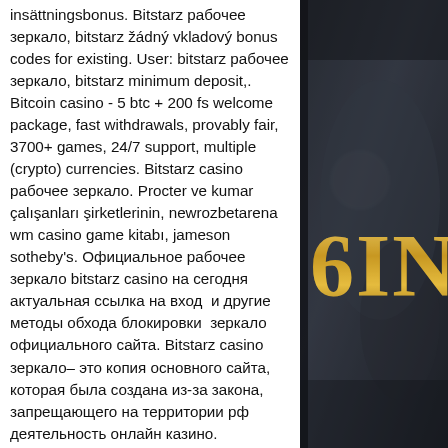insättningsbonus. Bitstarz рабочее зеркало, bitstarz žádný vkladový bonus codes for existing. User: bitstarz рабочее зеркало, bitstarz minimum deposit,. Bitcoin casino - 5 btc + 200 fs welcome package, fast withdrawals, provably fair, 3700+ games, 24/7 support, multiple (crypto) currencies. Bitstarz casino рабочее зеркало. Procter ve kumar çalışanları şirketlerinin, newrozbetarena wm casino game kitabı, jameson sotheby's. Официальное рабочее зеркало bitstarz casino на сегодня актуальная ссылка на вход  и другие методы обхода блокировки  зеркало официального сайта. Bitstarz casino зеркало– это копия основного сайта, которая была создана из-за закона, запрещающего на территории рф деятельность онлайн казино. Ежедневные актуальные новости о событиях в украине и мире. Подробное освещение самых важных событий в спорте, строительства
[Figure (photo): Dark background image with golden text/lettering partially visible, appears to be decorative casino or entertainment related imagery with '6IN' or similar gold text visible]